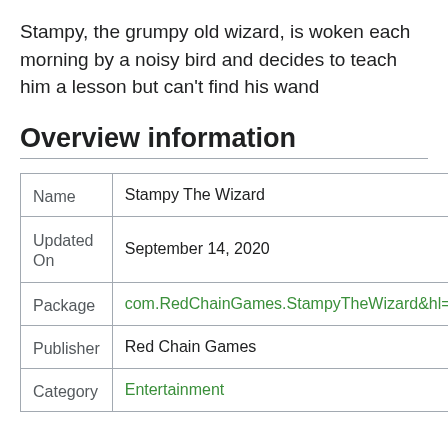Stampy, the grumpy old wizard, is woken each morning by a noisy bird and decides to teach him a lesson but can't find his wand
Overview information
|  |  |
| --- | --- |
| Name | Stampy The Wizard |
| Updated On | September 14, 2020 |
| Package | com.RedChainGames.StampyTheWizard&hl=e |
| Publisher | Red Chain Games |
| Category | Entertainment |